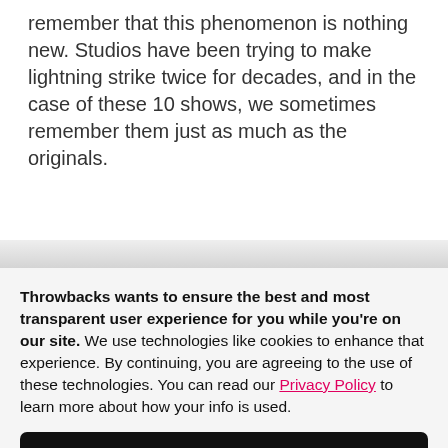remember that this phenomenon is nothing new. Studios have been trying to make lightning strike twice for decades, and in the case of these 10 shows, we sometimes remember them just as much as the originals.
Throwbacks wants to ensure the best and most transparent user experience for you while you're on our site. We use technologies like cookies to enhance that experience. By continuing, you are agreeing to the use of these technologies. You can read our Privacy Policy to learn more about how your info is used.
I AGREE, LET'S GO!